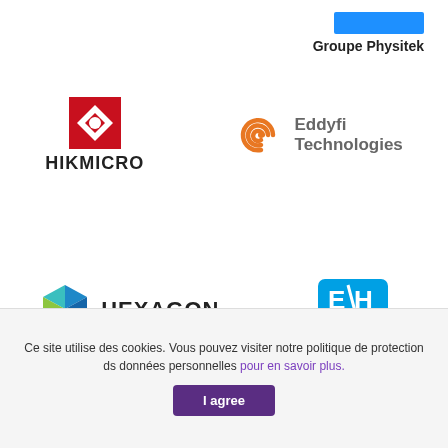[Figure (logo): Groupe Physitek logo — blue bar at top with bold text 'Groupe Physitek' below]
[Figure (logo): HIKMICRO logo — red square icon with diamond/eye shape, bold text HIKMICRO below]
[Figure (logo): Eddyfi Technologies logo — orange spiral/concentric arc icon with text 'Eddyfi Technologies']
[Figure (logo): Hexagon logo — teal/green/blue geometric hexagonal shape with bold text HEXAGON]
[Figure (logo): Endress+Hauser logo — blue rounded rectangle badge with 'EH' and text 'Endress+Hauser']
Ce site utilise des cookies. Vous pouvez visiter notre politique de protection ds données personnelles pour en savoir plus.
I agree